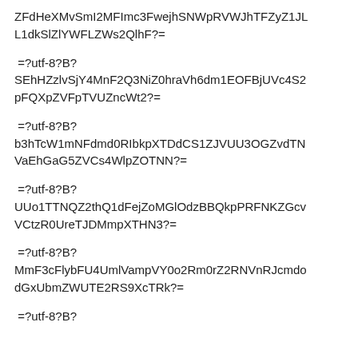ZFdHeXMvSmI2MFImc3FwejhSNWpRVWJhTFZyZ1JLL1dkSlZlYWFLZWs2QlhF?=
=?utf-8?B?
SEhHZzlvSjY4MnF2Q3NiZ0hraVh6dm1EOFBjUVc4S2pFQXpZVFpTVUZncWt2?=
=?utf-8?B?
b3hTcW1mNFdmd0RIbkpXTDdCS1ZJVUU3OGZvdTNVaEhGaG5ZVCs4WlpZOTNN?=
=?utf-8?B?
UUo1TTNQZ2thQ1dFejZoMGlOdzBBQkpPRFNKZGcvVCtzR0UreTJDMmpXTHN3?=
=?utf-8?B?
MmF3cFlybFU4UmlVampVY0o2Rm0rZ2RNVnRJcmdodGxUbmZWUTE2RS9XcTRk?=
=?utf-8?B?